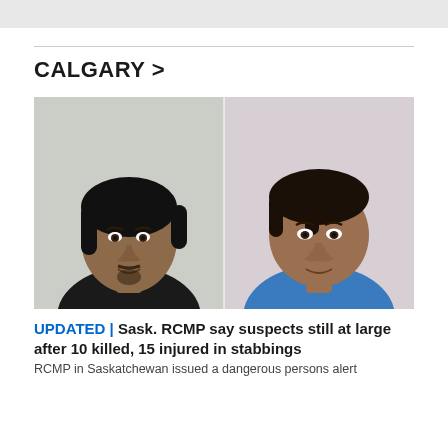CALGARY >
[Figure (photo): Two mugshot-style photographs side by side: left photo shows a young Indigenous man with black hair and a goatee wearing a dark shirt against a light wall background; right photo shows another Indigenous man with short dark hair wearing a blue t-shirt against a light pinkish background.]
UPDATED | Sask. RCMP say suspects still at large after 10 killed, 15 injured in stabbings
RCMP in Saskatchewan issued a dangerous persons alert